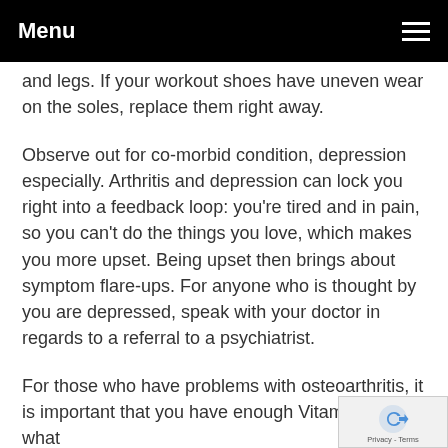Menu
and legs. If your workout shoes have uneven wear on the soles, replace them right away.
Observe out for co-morbid condition, depression especially. Arthritis and depression can lock you right into a feedback loop: you're tired and in pain, so you can't do the things you love, which makes you more upset. Being upset then brings about symptom flare-ups. For anyone who is thought by you are depressed, speak with your doctor in regards to a referral to a psychiatrist.
For those who have problems with osteoarthritis, it is important that you have enough Vitamin C in what